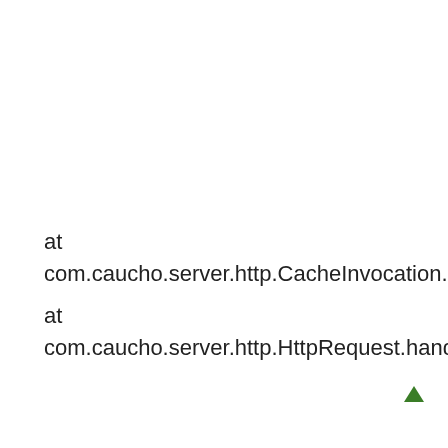at com.caucho.server.http.CacheInvocation.service(CacheInvocation.java:132)
at com.caucho.server.http.HttpRequest.handleRequest(HttpRequest.java:217)